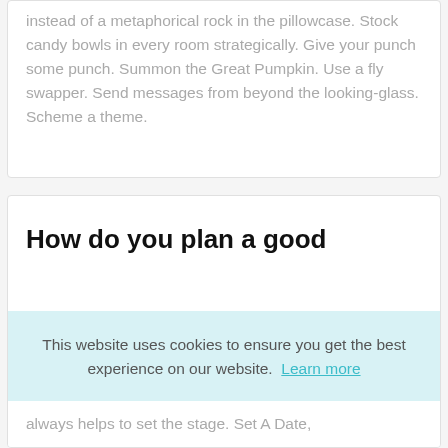instead of a metaphorical rock in the pillowcase. Stock candy bowls in every room strategically. Give your punch some punch. Summon the Great Pumpkin. Use a fly swapper. Send messages from beyond the looking-glass. Scheme a theme.
How do you plan a good
This website uses cookies to ensure you get the best experience on our website.  Learn more
Got it!
always helps to set the stage. Set A Date,